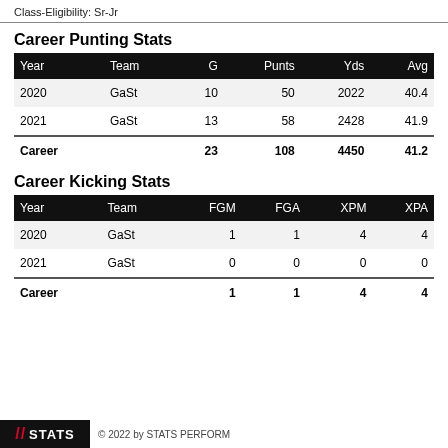Class-Eligibility: Sr-Jr
Career Punting Stats
| Year | Team | G | Punts | Yds | Avg |
| --- | --- | --- | --- | --- | --- |
| 2020 | GaSt | 10 | 50 | 2022 | 40.4 |
| 2021 | GaSt | 13 | 58 | 2428 | 41.9 |
| Career |  | 23 | 108 | 4450 | 41.2 |
Career Kicking Stats
| Year | Team | FGM | FGA | XPM | XPA |
| --- | --- | --- | --- | --- | --- |
| 2020 | GaSt | 1 | 1 | 4 | 4 |
| 2021 | GaSt | 0 | 0 | 0 | 0 |
| Career |  | 1 | 1 | 4 | 4 |
© 2022 by STATS PERFORM